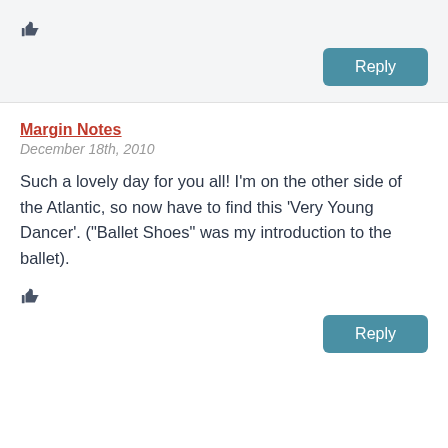[Figure (other): Thumbs up icon in top section]
[Figure (other): Reply button (blue rounded rectangle) in top section]
Margin Notes
December 18th, 2010
Such a lovely day for you all! I'm on the other side of the Atlantic, so now have to find this 'Very Young Dancer'. ("Ballet Shoes" was my introduction to the ballet).
[Figure (other): Thumbs up icon in bottom section]
[Figure (other): Reply button (blue rounded rectangle) in bottom section]